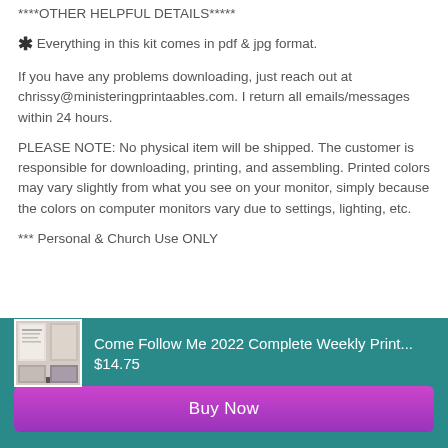****OTHER HELPFUL DETAILS*****
* Everything in this kit comes in pdf & jpg format.
If you have any problems downloading, just reach out at chrissy@ministeringprintaables.com. I return all emails/messages within 24 hours.
PLEASE NOTE: No physical item will be shipped. The customer is responsible for downloading, printing, and assembling. Printed colors may vary slightly from what you see on your monitor, simply because the colors on computer monitors vary due to settings, lighting, etc.
*** Personal & Church Use ONLY
[Figure (other): Product listing card with thumbnail image of Come Follow Me 2022 printable kit, title, price $14.75, and Buy Now button on teal background]